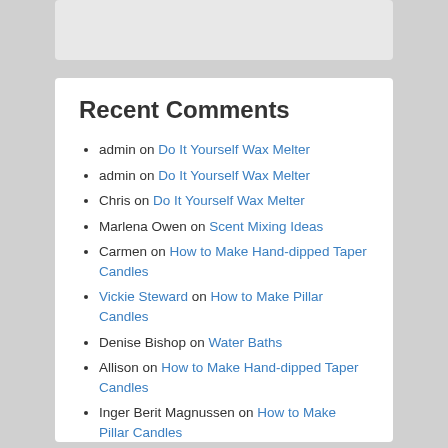Recent Comments
admin on Do It Yourself Wax Melter
admin on Do It Yourself Wax Melter
Chris on Do It Yourself Wax Melter
Marlena Owen on Scent Mixing Ideas
Carmen on How to Make Hand-dipped Taper Candles
Vickie Steward on How to Make Pillar Candles
Denise Bishop on Water Baths
Allison on How to Make Hand-dipped Taper Candles
Inger Berit Magnussen on How to Make Pillar Candles
Lisa on Mottled Pillar Candles